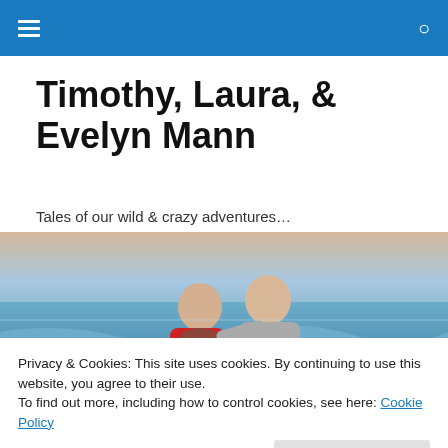Navigation bar with menu and search icons
Timothy, Laura, & Evelyn Mann
Tales of our wild & crazy adventures…
[Figure (photo): A couple, a man and a woman, standing together on a beach with ocean waves in the background. The woman is wearing a red jacket and scarf; the man is in a grey hoodie.]
Privacy & Cookies: This site uses cookies. By continuing to use this website, you agree to their use.
To find out more, including how to control cookies, see here: Cookie Policy
Close and accept
nerdy researchers, Timothy and I (Laura) met in 2003, our